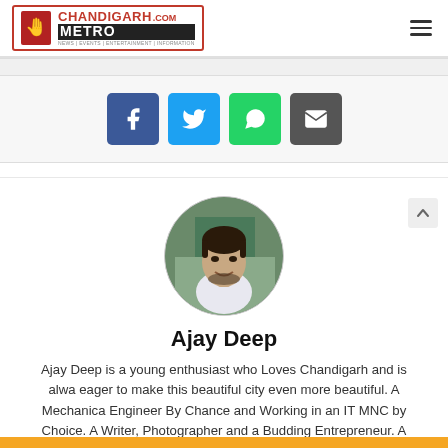[Figure (logo): Chandigarh Metro .com logo with red hand icon and tagline NEWS | EVENTS | ENTERTAINMENT | INFORMATION]
[Figure (infographic): Social share buttons: Facebook (blue), Twitter (light blue), WhatsApp (green), Email (dark grey)]
[Figure (photo): Circular profile photo of Ajay Deep, a young man with beard, smiling]
Ajay Deep
Ajay Deep is a young enthusiast who Loves Chandigarh and is always eager to make this beautiful city even more beautiful. A Mechanical Engineer By Chance and Working in an IT MNC by Choice. A Writer, Photographer and a Budding Entrepreneur. A Designer, Developer and